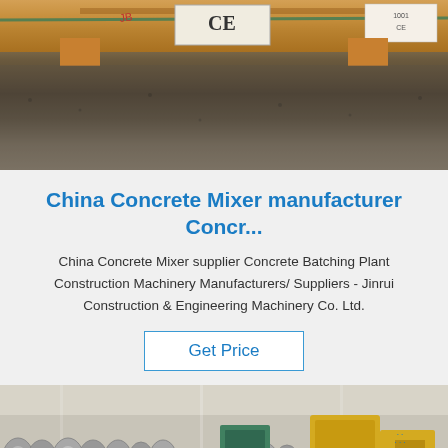[Figure (photo): Photo of packaged goods on wooden pallets in a warehouse, showing brown paper-wrapped items with CE certification label, resting on orange wooden pallet blocks on a concrete floor.]
China Concrete Mixer manufacturer Concr...
China Concrete Mixer supplier Concrete Batching Plant Construction Machinery Manufacturers/ Suppliers - Jinrui Construction & Engineering Machinery Co. Ltd.
Get Price
[Figure (photo): Photo of a factory floor showing rows of large metal coils/rolls and construction machinery including yellow equipment, inside a large industrial warehouse with bright lighting.]